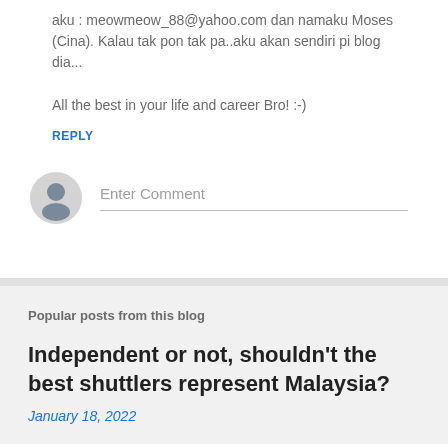aku : meowmeow_88@yahoo.com dan namaku Moses (Cina). Kalau tak pon tak pa..aku akan sendiri pi blog dia...
All the best in your life and career Bro! :-)
REPLY
[Figure (illustration): Generic user avatar icon - grey circle with silhouette of a person]
Enter Comment
Popular posts from this blog
Independent or not, shouldn't the best shuttlers represent Malaysia?
January 18, 2022